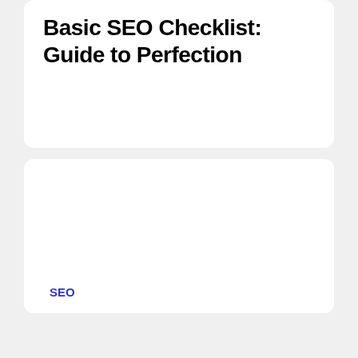Basic SEO Checklist: Guide to Perfection
SEO